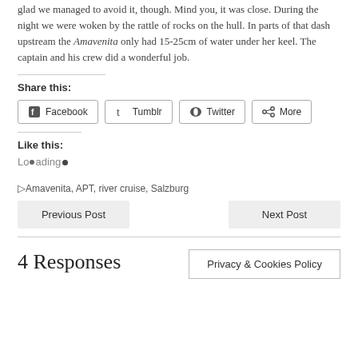glad we managed to avoid it, though. Mind you, it was close. During the night we were woken by the rattle of rocks on the hull. In parts of that dash upstream the Amavenita only had 15-25cm of water under her keel. The captain and his crew did a wonderful job.
Share this:
Facebook  Tumblr  Twitter  More
Like this:
Loading…
Amavenita, APT, river cruise, Salzburg
Previous Post
Next Post
4 Responses
Privacy & Cookies Policy